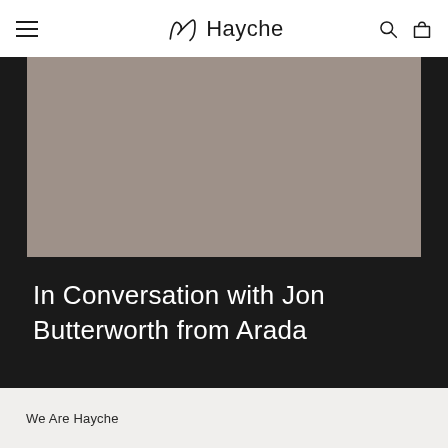Hayche
[Figure (photo): A grey-toned placeholder/hero image on a dark background]
In Conversation with Jon Butterworth from Arada
We Are Hayche